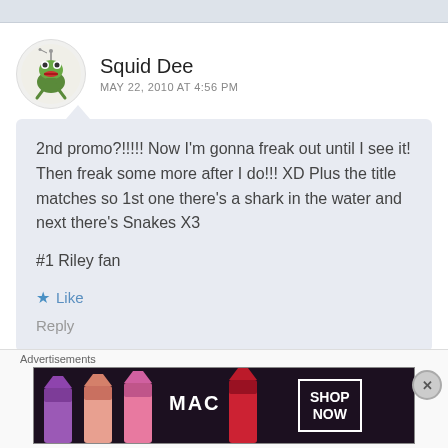Squid Dee
MAY 22, 2010 AT 4:56 PM
2nd promo?!!!!! Now I'm gonna freak out until I see it! Then freak some more after I do!!! XD Plus the title matches so 1st one there's a shark in the water and next there's Snakes X3

#1 Riley fan
Like
Reply
Advertisements
[Figure (photo): MAC Cosmetics advertisement banner showing lipsticks with MAC logo and SHOP NOW button]